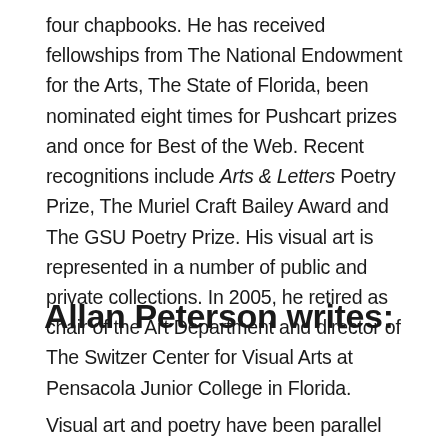four chapbooks. He has received fellowships from The National Endowment for the Arts, The State of Florida, been nominated eight times for Pushcart prizes and once for Best of the Web. Recent recognitions include Arts & Letters Poetry Prize, The Muriel Craft Bailey Award and The GSU Poetry Prize. His visual art is represented in a number of public and private collections. In 2005, he retired as chair of the Art Department and director of The Switzer Center for Visual Arts at Pensacola Junior College in Florida.
Allan Peterson writes:
Visual art and poetry have been parallel